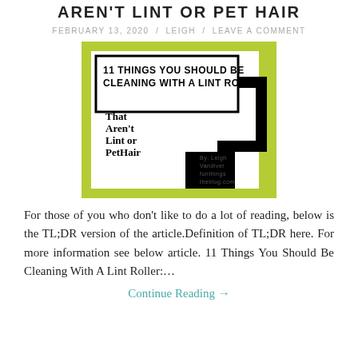AREN'T LINT OR PET HAIR
FEBRUARY 13, 2020 / LEIGH / LEAVE A COMMENT
[Figure (illustration): Illustrated graphic showing a lint roller with text: '11 Things You Should Be Cleaning With A Lint Roller That Aren't Lint or Pet Hair' by Leigh Vandiver funthingstheblog.com. Green and black color scheme.]
For those of you who don't like to do a lot of reading, below is the TL;DR version of the article.Definition of TL;DR here. For more information see below article. 11 Things You Should Be Cleaning With A Lint Roller:…
Continue Reading →